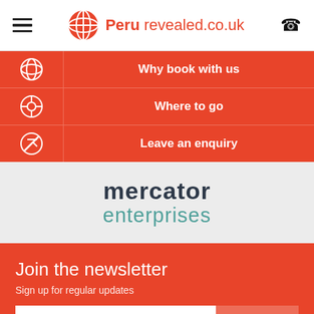Peru revealed.co.uk
Why book with us
Where to go
Leave an enquiry
[Figure (logo): Mercator Enterprises logo in dark navy and teal on light grey background]
Join the newsletter
Sign up for regular updates
Your email  SIGN UP